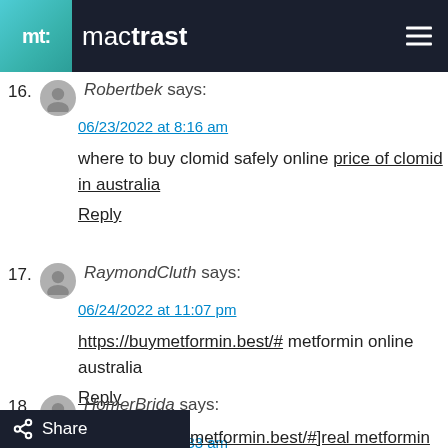mactrast
16. Robertbek says:
06/23/2022 at 8:16 am
where to buy clomid safely online price of clomid in australia
Reply
17. RaymondCluth says:
06/24/2022 at 11:07 pm
https://buymetformin.best/# metformin online australia
Reply
18. HomerBrida says:
06/26/2022 at 5:33 am
[url=https://buymetformin.best/#]real metformin